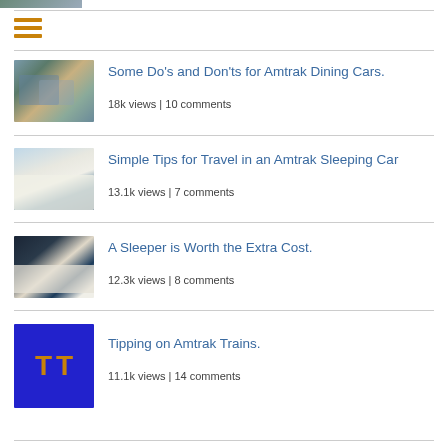[Figure (photo): Partial photo at top of page, cropped]
[Figure (other): Hamburger menu icon with three orange horizontal bars]
[Figure (photo): Photo of Amtrak dining car interior with passengers]
Some Do's and Don'ts for Amtrak Dining Cars.
18k views | 10 comments
[Figure (photo): Photo of Amtrak sleeping car bed]
Simple Tips for Travel in an Amtrak Sleeping Car
13.1k views | 7 comments
[Figure (photo): Photo of Amtrak sleeper compartment]
A Sleeper is Worth the Extra Cost.
12.3k views | 8 comments
[Figure (logo): Blue square logo with orange TT letters]
Tipping on Amtrak Trains.
11.1k views | 14 comments